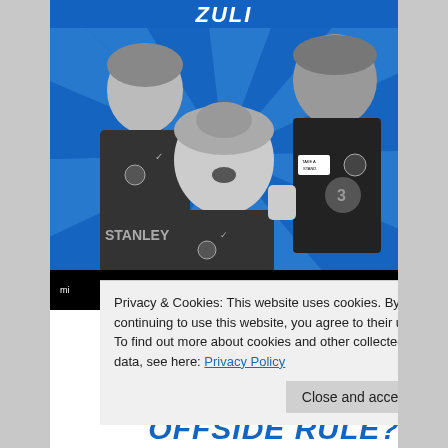[Figure (photo): Sports magazine page showing three female football players on a blue radial background. Left player wears FC Barcelona kit with STANLEY sponsor, center player is celebrating with fist raised wearing Barcelona kit, right player wears Chelsea FC dark kit with 'TAKE A STAND' badge. Black title bar at top with italic white text partially visible. Bottom black strip with 'THE' text and a line.]
Privacy & Cookies: This website uses cookies. By continuing to use this website, you agree to their use. To find out more about cookies and other collected data, see here: Privacy Policy
Close and accept
OFFSIDE RULE?